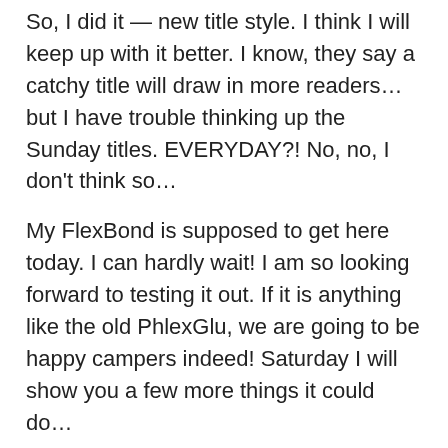So, I did it — new title style. I think I will keep up with it better. I know, they say a catchy title will draw in more readers…but I have trouble thinking up the Sunday titles. EVERYDAY?! No, no, I don't think so…
My FlexBond is supposed to get here today. I can hardly wait! I am so looking forward to testing it out. If it is anything like the old PhlexGlu, we are going to be happy campers indeed! Saturday I will show you a few more things it could do…
But now, I am going to watch my delayed Top Chef finale, and then go do three hours…where, Oh Mighty Die?
In the Studio. Perfect! I can get it ready to craft in again. 🙂
UPDATE ONE: Despite a break for lunch, I only made it